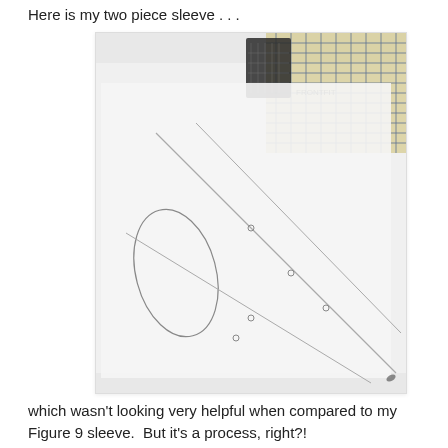Here is my two piece sleeve . . .
[Figure (photo): Photo of a two-piece sleeve sewing pattern laid out on white fabric, with a leaf-shaped pattern piece visible on the left and seam lines marked with dots. A gridded ruler and paper pattern are visible in the upper right corner.]
which wasn't looking very helpful when compared to my Figure 9 sleeve.  But it's a process, right?!